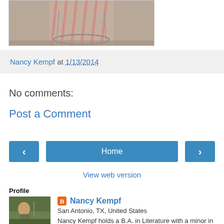[Figure (photo): A person in a striped dress sitting in a decorative wire/metal chair]
Nancy Kempf at 1/13/2014
No comments:
Post a Comment
[Figure (other): Navigation buttons: left arrow, Home, right arrow]
View web version
Profile
[Figure (photo): Profile photo of Nancy Kempf outdoors near a fence]
Nancy Kempf
San Antonio, TX, United States
Nancy Kempf holds a B.A. in Literature with a minor in Philosophy from the Oklahoma College of Liberal